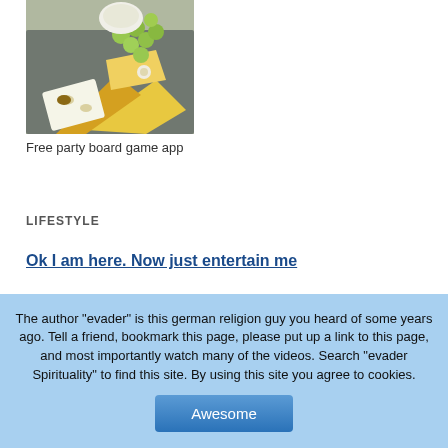[Figure (photo): A photo of a cheese board with various cheeses, green grapes, and garnishes on a dark slate surface.]
Free party board game app
LIFESTYLE
Ok I am here. Now just entertain me
The author "evader" is this german religion guy you heard of some years ago. Tell a friend, bookmark this page, please put up a link to this page, and most importantly watch many of the videos. Search "evader Spirituality" to find this site. By using this site you agree to cookies.
Awesome